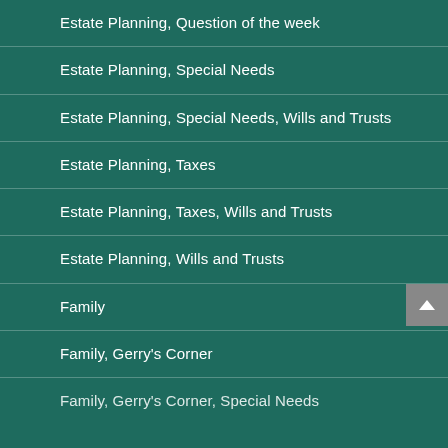Estate Planning, Question of the week
Estate Planning, Special Needs
Estate Planning, Special Needs, Wills and Trusts
Estate Planning, Taxes
Estate Planning, Taxes, Wills and Trusts
Estate Planning, Wills and Trusts
Family
Family, Gerry's Corner
Family, Gerry's Corner, Special Needs